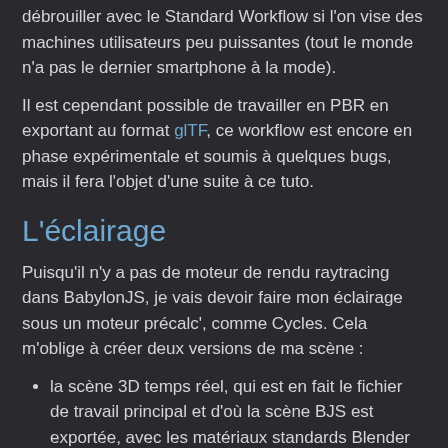débrouiller avec le Standard Workflow si l'on vise des machines utilisateurs peu puissantes (tout le monde n'a pas le dernier smartphone à la mode).
Il est cependant possible de travailler en PBR en exportant au format glTF, ce workflow est encore en phase expérimentale et soumis à quelques bugs, mais il fera l'objet d'une suite à ce tuto.
L'éclairage
Puisqu'il n'y a pas de moteur de rendu raytracing dans BabylonJS, je vais devoir faire mon éclairage sous un moteur précalc', comme Cycles. Cela m'oblige à créer deux versions de ma scène :
la scène 3D temps réel, qui est en fait le fichier de travail principal et d'où la scène BJS est exportée, avec les matériaux standards Blender Render
la scène 3D précalculée, qui va être dédiée à la